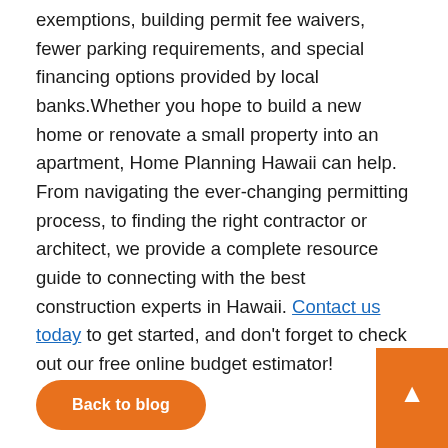exemptions, building permit fee waivers, fewer parking requirements, and special financing options provided by local banks.Whether you hope to build a new home or renovate a small property into an apartment, Home Planning Hawaii can help. From navigating the ever-changing permitting process, to finding the right contractor or architect, we provide a complete resource guide to connecting with the best construction experts in Hawaii. Contact us today to get started, and don't forget to check out our free online budget estimator!
Back to blog